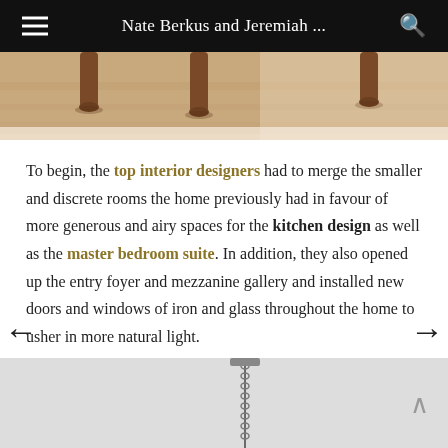Nate Berkus and Jeremiah ...
[Figure (photo): Bottom portion of wooden furniture legs on a light hardwood floor]
To begin, the top interior designers had to merge the smaller and discrete rooms the home previously had in favour of more generous and airy spaces for the kitchen design as well as the master bedroom suite. In addition, they also opened up the entry foyer and mezzanine gallery and installed new doors and windows of iron and glass throughout the home to usher in more natural light.
[Figure (photo): Light grey interior room with a hanging chain chandelier pendant visible, partially cropped at bottom of page]